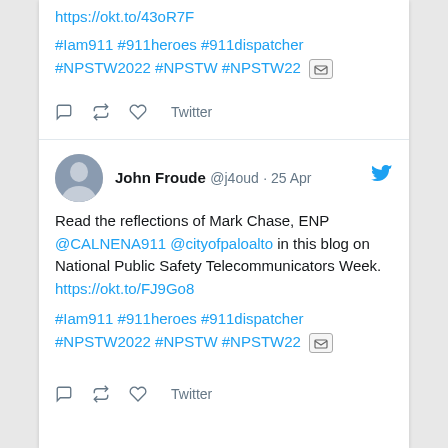https://okt.to/43oR7F
#Iam911 #911heroes #911dispatcher #NPSTW2022 #NPSTW #NPSTW22
Twitter
John Froude @j4oud · 25 Apr
Read the reflections of Mark Chase, ENP @CALNENA911 @cityofpaloalto in this blog on National Public Safety Telecommunicators Week. https://okt.to/FJ9Go8
#Iam911 #911heroes #911dispatcher #NPSTW2022 #NPSTW #NPSTW22
Twitter